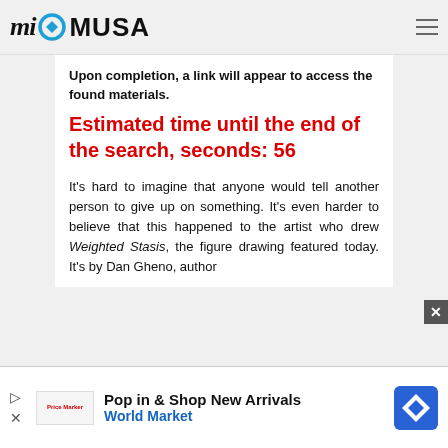miMUSA
Upon completion, a link will appear to access the found materials.
Estimated time until the end of the search, seconds: 56
It's hard to imagine that anyone would tell another person to give up on something. It's even harder to believe that this happened to the artist who drew Weighted Stasis, the figure drawing featured today. It's by Dan Gheno, author
[Figure (infographic): Advertisement banner: Pop in & Shop New Arrivals – World Market, with a blue navigation diamond icon and World Market logo]